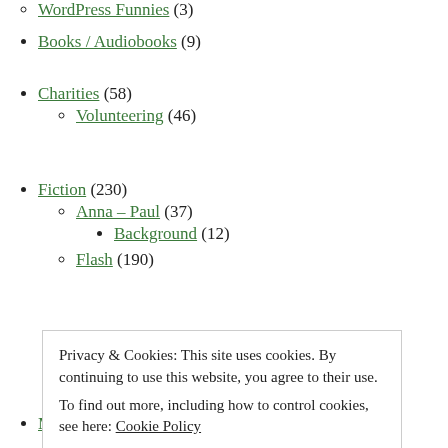WordPress Funnies (3)
Books / Audiobooks (9)
Charities (58)
Volunteering (46)
Fiction (230)
Anna – Paul (37)
Background (12)
Flash (190)
Film / TV (11)
Health (234)
Blood Pressure (2)
Diabetes (49)
Privacy & Cookies: This site uses cookies. By continuing to use this website, you agree to their use.
To find out more, including how to control cookies, see here: Cookie Policy
Close and accept
Misc (54)